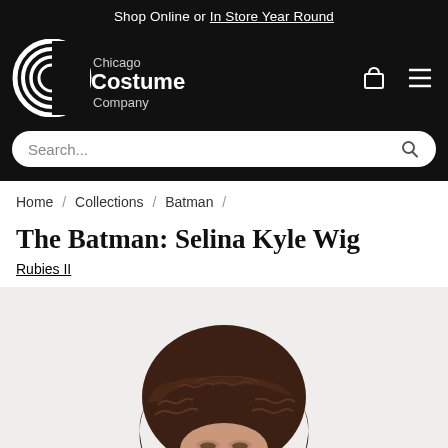Shop Online or In Store Year Round
[Figure (logo): Chicago Costume Company logo — white spiral C logo with text]
Search...
Home / Collections / Batman /
The Batman: Selina Kyle Wig
Rubies II
[Figure (photo): Product photo of The Batman Selina Kyle Wig — short dark brown wavy wig shown on a model head, side/front angle view]